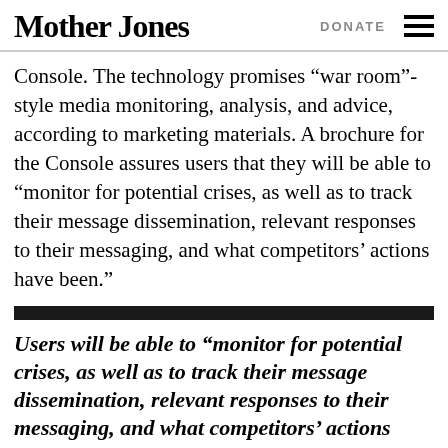Mother Jones | DONATE
Console. The technology promises “war room”-style media monitoring, analysis, and advice, according to marketing materials. A brochure for the Console assures users that they will be able to “monitor for potential crises, as well as to track their message dissemination, relevant responses to their messaging, and what competitors’ actions have been.”
Users will be able to “monitor for potential crises, as well as to track their message dissemination, relevant responses to their messaging, and what competitors’ actions have been.”